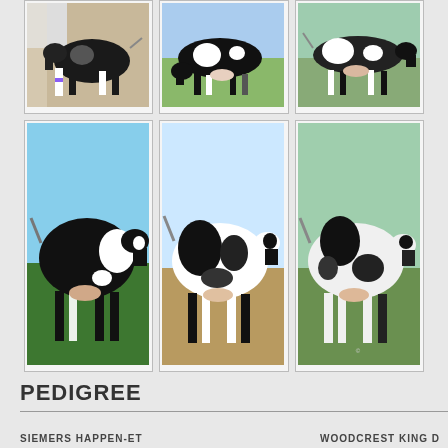[Figure (photo): Top row of three Holstein dairy cow photos showing black and white cows in various outdoor settings]
[Figure (photo): Bottom row of three Holstein dairy cow photos showing predominantly black cows and black-and-white cows in outdoor settings]
PEDIGREE
SIEMERS HAPPEN-ET
WOODCREST KING D